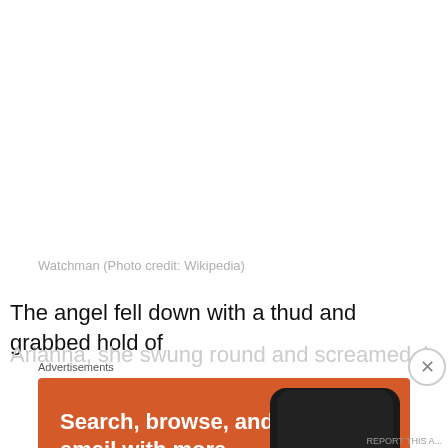Watchman (Photo credit: Wikipedia)
The angel fell down with a thud and grabbed hold of Arianna, she swung round and screamed, her eyes
Advertisements
[Figure (screenshot): DuckDuckGo advertisement: orange background with text 'Search, browse, and email with more privacy. All in One Free App' with a phone showing the DuckDuckGo app logo]